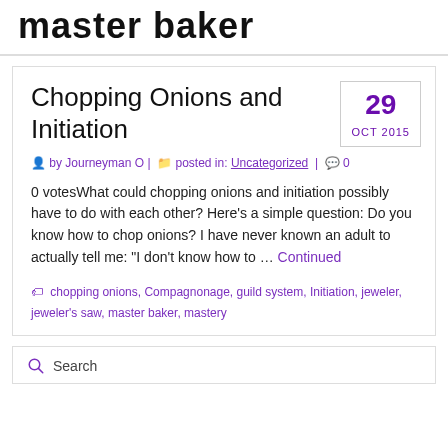master baker
Chopping Onions and Initiation
29 OCT 2015
by Journeyman O | posted in: Uncategorized | 0
0 votesWhat could chopping onions and initiation possibly have to do with each other? Here’s a simple question: Do you know how to chop onions? I have never known an adult to actually tell me: “I don’t know how to … Continued
chopping onions, Compagnonage, guild system, Initiation, jeweler, jeweler’s saw, master baker, mastery